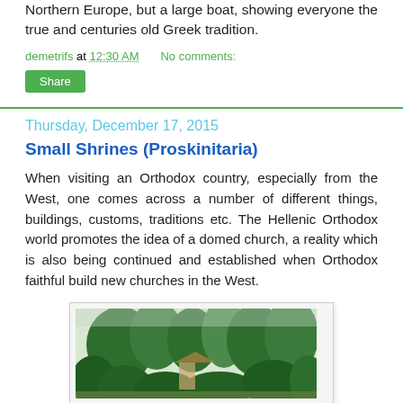Northern Europe, but a large boat, showing everyone the true and centuries old Greek tradition.
demetrifs at 12:30 AM   No comments:
Share
Thursday, December 17, 2015
Small Shrines (Proskinitaria)
When visiting an Orthodox country, especially from the West, one comes across a number of different things, buildings, customs, traditions etc. The Hellenic Orthodox world promotes the idea of a domed church, a reality which is also being continued and established when Orthodox faithful build new churches in the West.
[Figure (photo): Outdoor photo showing trees and vegetation with a structure partially visible in the background]